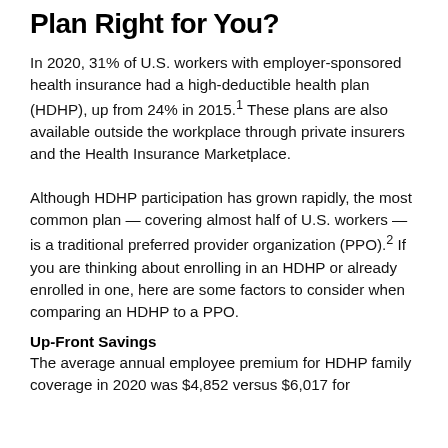Plan Right for You?
In 2020, 31% of U.S. workers with employer-sponsored health insurance had a high-deductible health plan (HDHP), up from 24% in 2015.1 These plans are also available outside the workplace through private insurers and the Health Insurance Marketplace.
Although HDHP participation has grown rapidly, the most common plan — covering almost half of U.S. workers — is a traditional preferred provider organization (PPO).2 If you are thinking about enrolling in an HDHP or already enrolled in one, here are some factors to consider when comparing an HDHP to a PPO.
Up-Front Savings
The average annual employee premium for HDHP family coverage in 2020 was $4,852 versus $6,017 for